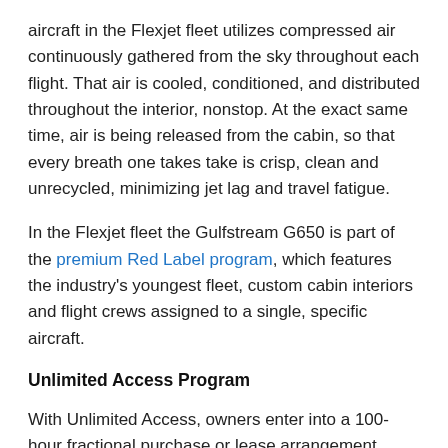aircraft in the Flexjet fleet utilizes compressed air continuously gathered from the sky throughout each flight. That air is cooled, conditioned, and distributed throughout the interior, nonstop. At the exact same time, air is being released from the cabin, so that every breath one takes take is crisp, clean and unrecycled, minimizing jet lag and travel fatigue.
In the Flexjet fleet the Gulfstream G650 is part of the premium Red Label program, which features the industry's youngest fleet, custom cabin interiors and flight crews assigned to a single, specific aircraft.
Unlimited Access Program
With Unlimited Access, owners enter into a 100-hour fractional purchase or lease arrangement granting access to the G650. If at any time an owner would like to fly an aircraft type that is more mission appropriate for a trip, that does not require them to use the G650, interchange rates allow them to earn additional hours or monetary credits to their accounts.